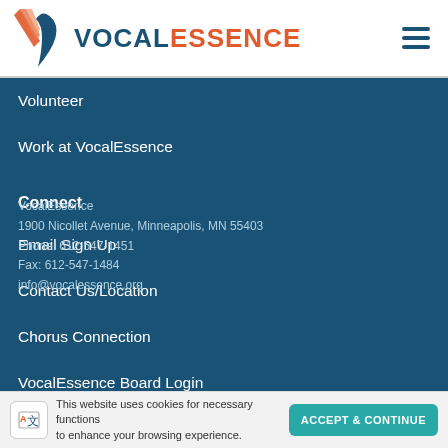VOCALESSENCE
Volunteer
Work at VocalEssence
Connect
Email Sign Up
Contact Us/Location
Chorus Connection
VocalEssence Board Login
VocalEssence
1900 Nicollet Avenue, Minneapolis, MN 55403
Phone: 612-547-1451
Fax: 612-547-1484
info@vocalessence.org
This website uses cookies for necessary functions to enhance your browsing experience.